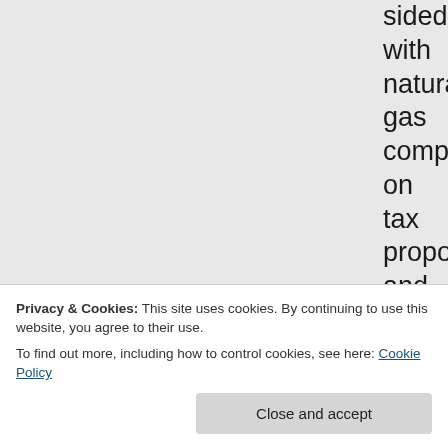sided with natural gas companies on tax proposals and property rights legislation. Industry lobbyists have convinced regulators to soften new rules aimed at protecting residents and their communities from
Privacy & Cookies: This site uses cookies. By continuing to use this website, you agree to their use. To find out more, including how to control cookies, see here: Cookie Policy
Close and accept